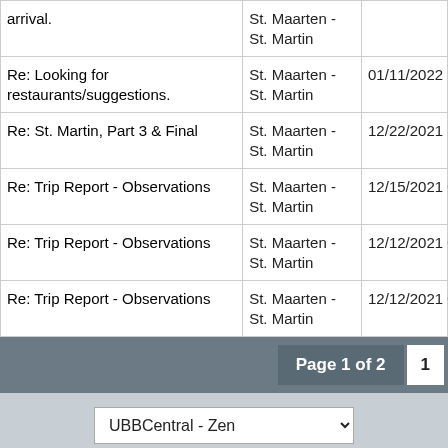| Topic | Forum | Date |
| --- | --- | --- |
| arrival. | St. Maarten - St. Martin |  |
| Re: Looking for restaurants/suggestions. | St. Maarten - St. Martin | 01/11/2022 1… |
| Re: St. Martin, Part 3 & Final | St. Maarten - St. Martin | 12/22/2021 1… |
| Re: Trip Report - Observations | St. Maarten - St. Martin | 12/15/2021 0… |
| Re: Trip Report - Observations | St. Maarten - St. Martin | 12/12/2021 0… |
| Re: Trip Report - Observations | St. Maarten - St. Martin | 12/12/2021 0… |
Page 1 of 2  1
UBBCentral - Zen
TravelTalkOnline > Forums > All Posts Made By erb923  Register  Forum Rules · Mark All Read  Contact Us · TravelTal…
Powered by UBB.threads™ PHP Forum Software 7.6.1